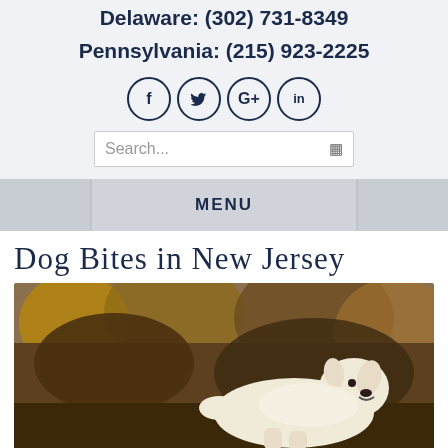Delaware: (302) 731-8349
Pennsylvania: (215) 923-2225
[Figure (infographic): Social media icons: Facebook (f), Twitter (bird), Google+ (G+), LinkedIn (in), each in a circle outline]
[Figure (screenshot): Search bar with placeholder text 'Search...' and a search icon on the right]
MENU
Dog Bites in New Jersey
[Figure (photo): A white/cream colored dog outdoors with autumn foliage and brown trees in the background, the dog appears to be smiling/panting]